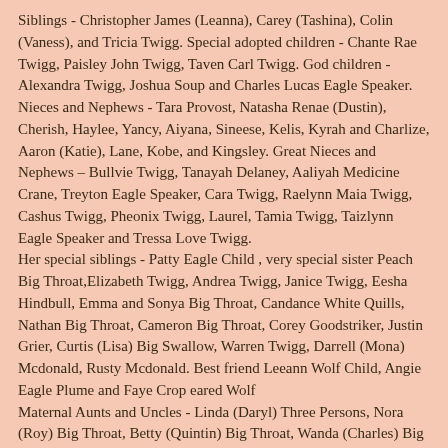Siblings - Christopher James (Leanna), Carey (Tashina), Colin (Vaness), and Tricia Twigg. Special adopted children - Chante Rae Twigg, Paisley John Twigg, Taven Carl Twigg. God children - Alexandra Twigg, Joshua Soup and Charles Lucas Eagle Speaker. Nieces and Nephews - Tara Provost, Natasha Renae (Dustin), Cherish, Haylee, Yancy, Aiyana, Sineese, Kelis, Kyrah and Charlize, Aaron (Katie), Lane, Kobe, and Kingsley. Great Nieces and Nephews – Bullvie Twigg, Tanayah Delaney, Aaliyah Medicine Crane, Treyton Eagle Speaker, Cara Twigg, Raelynn Maia Twigg, Cashus Twigg, Pheonix Twigg, Laurel, Tamia Twigg, Taizlynn Eagle Speaker and Tressa Love Twigg. Her special siblings - Patty Eagle Child , very special sister Peach Big Throat,Elizabeth Twigg, Andrea Twigg, Janice Twigg, Eesha Hindbull, Emma and Sonya Big Throat, Candance White Quills, Nathan Big Throat, Cameron Big Throat, Corey Goodstriker, Justin Grier, Curtis (Lisa) Big Swallow, Warren Twigg, Darrell (Mona) Mcdonald, Rusty Mcdonald. Best friend Leeann Wolf Child, Angie Eagle Plume and Faye Crop eared Wolf Maternal Aunts and Uncles - Linda (Daryl) Three Persons, Nora (Roy) Big Throat, Betty (Quintin) Big Throat, Wanda (Charles) Big Throat, Pam (Colin) Big Throat, Doris (Phillip) Big Throat and Henry (Betty) Big Throat. Great Aunts – Clara Russell, Henrietta P...